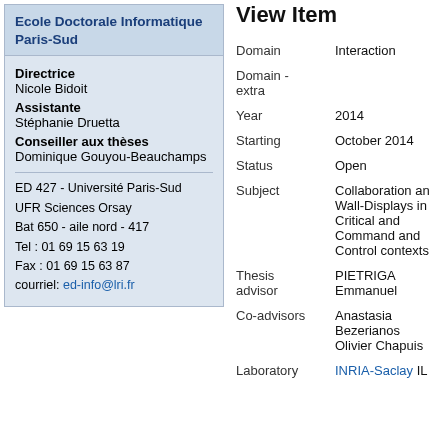Ecole Doctorale Informatique Paris-Sud
Directrice
Nicole Bidoit
Assistante
Stéphanie Druetta
Conseiller aux thèses
Dominique Gouyou-Beauchamps
ED 427 - Université Paris-Sud
UFR Sciences Orsay
Bat 650 - aile nord - 417
Tel : 01 69 15 63 19
Fax : 01 69 15 63 87
courriel: ed-info@lri.fr
View Item
| Field | Value |
| --- | --- |
| Domain | Interaction |
| Domain - extra |  |
| Year | 2014 |
| Starting | October 2014 |
| Status | Open |
| Subject | Collaboration and Wall-Displays in Critical and Command and Control contexts |
| Thesis advisor | PIETRIGA Emmanuel |
| Co-advisors | Anastasia Bezerianos Olivier Chapuis |
| Laboratory | INRIA-Saclay IL |